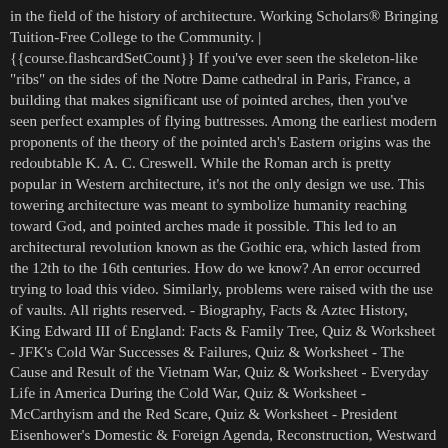in the field of the history of architecture. Working Scholars® Bringing Tuition-Free College to the Community. | {{course.flashcardSetCount}} If you've ever seen the skeleton-like "ribs" on the sides of the Notre Dame cathedral in Paris, France, a building that makes significant use of pointed arches, then you've seen perfect examples of flying buttresses. Among the earliest modern proponents of the theory of the pointed arch's Eastern origins was the redoubtable K. A. C. Creswell. While the Roman arch is pretty popular in Western architecture, it's not the only design we use. This towering architecture was meant to symbolize humanity reaching toward God, and pointed arches made it possible. This led to an architectural revolution known as the Gothic era, which lasted from the 12th to the 16th centuries. How do we know? An error occurred trying to load this video. Similarly, problems were raised with the use of vaults. All rights reserved. - Biography, Facts & Aztec History, King Edward III of England: Facts & Family Tree, Quiz & Worksheet - JFK's Cold War Successes & Failures, Quiz & Worksheet - The Cause and Result of the Vietnam War, Quiz & Worksheet - Everyday Life in America During the Cold War, Quiz & Worksheet - McCarthyism and the Red Scare, Quiz & Worksheet - President Eisenhower's Domestic & Foreign Agenda, Reconstruction, Westward Expansion, Industrialization & Urbanization, Progressive Politics & American Imperialism, CPA Subtest IV - Regulation (REG): Study Guide & Practice, CPA Subtest III - Financial Accounting & Reporting,